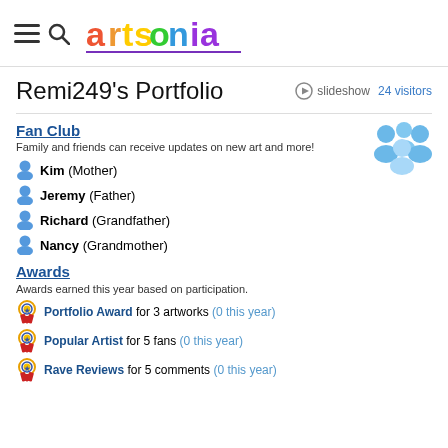artsonia (logo with hamburger and search icons)
Remi249's Portfolio
slideshow   24 visitors
Fan Club
Family and friends can receive updates on new art and more!
Kim (Mother)
Jeremy (Father)
Richard (Grandfather)
Nancy (Grandmother)
Awards
Awards earned this year based on participation.
Portfolio Award for 3 artworks (0 this year)
Popular Artist for 5 fans (0 this year)
Rave Reviews for 5 comments (0 this year)